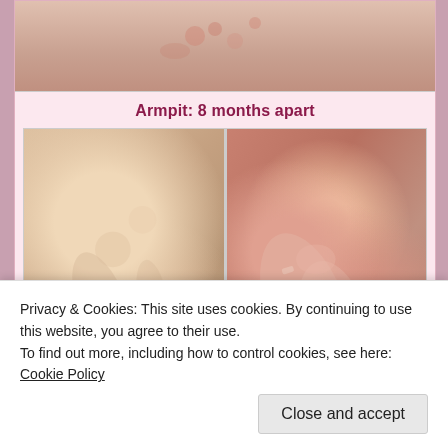[Figure (photo): Top portion of a skin close-up photo showing mild skin condition or irritation]
Armpit: 8 months apart
[Figure (photo): Side-by-side comparison of armpit skin condition. Left side shows milder/less inflamed skin texture; right side shows more severe eczema or psoriasis with visible scaling and redness, 8 months apart.]
Privacy & Cookies: This site uses cookies. By continuing to use this website, you agree to their use.
To find out more, including how to control cookies, see here: Cookie Policy
Close and accept